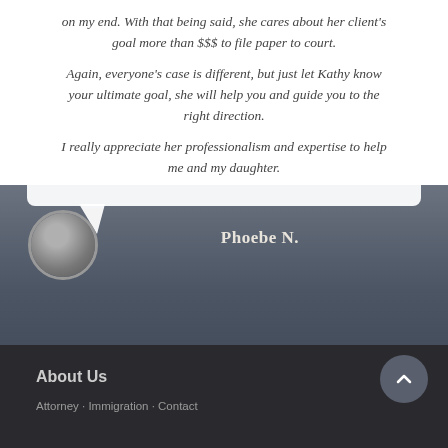on my end. With that being said, she cares about her client's goal more than $$$ to file paper to court.
Again, everyone's case is different, but just let Kathy know your ultimate goal, she will help you and guide you to the right direction.
I really appreciate her professionalism and expertise to help me and my daughter.
Phoebe N.
About Us